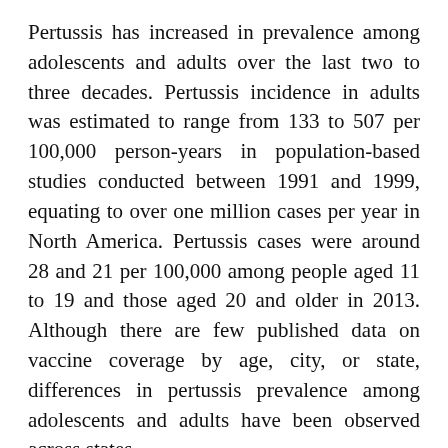Pertussis has increased in prevalence among adolescents and adults over the last two to three decades. Pertussis incidence in adults was estimated to range from 133 to 507 per 100,000 person-years in population-based studies conducted between 1991 and 1999, equating to over one million cases per year in North America. Pertussis cases were around 28 and 21 per 100,000 among people aged 11 to 19 and those aged 20 and older in 2013. Although there are few published data on vaccine coverage by age, city, or state, differences in pertussis prevalence among adolescents and adults have been observed across states.
For example, between 1989 and 1998, the incidence of pertussis increased in Massachusetts, with 92% of cases...